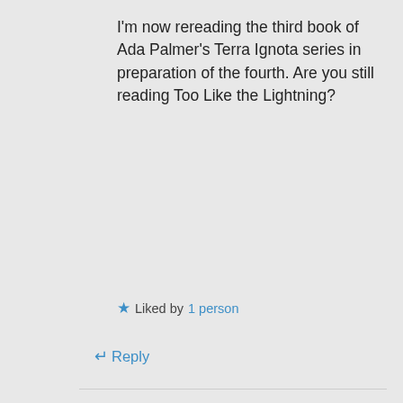I'm now rereading the third book of Ada Palmer's Terra Ignota series in preparation of the fourth. Are you still reading Too Like the Lightning?
★ Liked by 1 person
↵ Reply
bormgans on January 12, 2022 at 21:42
Privacy & Cookies: This site uses cookies. By continuing to use this website, you agree to their use.
To find out more, including how to control cookies, see here: Cookie Policy
Close and accept
Like